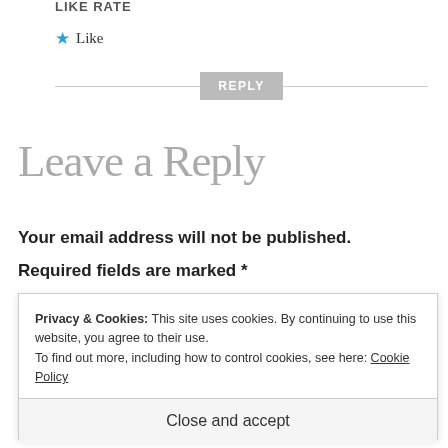LIKE RATE
★ Like
REPLY
Leave a Reply
Your email address will not be published.
Required fields are marked *
Privacy & Cookies: This site uses cookies. By continuing to use this website, you agree to their use. To find out more, including how to control cookies, see here: Cookie Policy
Close and accept